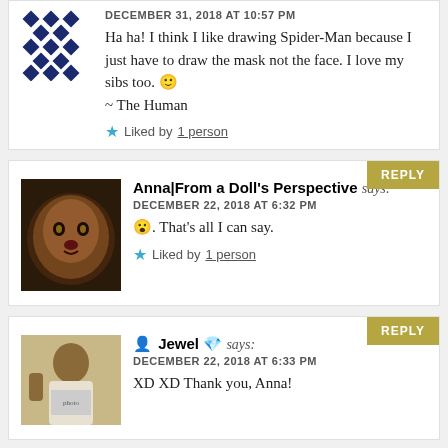DECEMBER 31, 2018 AT 10:57 PM
Ha ha! I think I like drawing Spider-Man because I just have to draw the mask not the face. I love my sibs too. 🙂 ~ The Human
Liked by 1 person
Anna|From a Doll's Perspective says:
DECEMBER 22, 2018 AT 6:32 PM
😮. That's all I can say.
Liked by 1 person
Jewel 💎 says:
DECEMBER 22, 2018 AT 6:33 PM
XD XD Thank you, Anna!